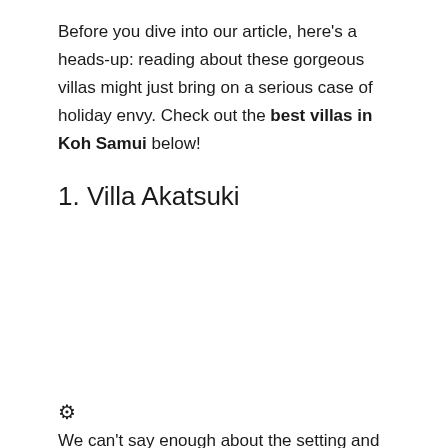Before you dive into our article, here's a heads-up: reading about these gorgeous villas might just bring on a serious case of holiday envy. Check out the best villas in Koh Samui below!
1. Villa Akatsuki
[Figure (photo): Photo of Villa Akatsuki (blank/white space in this view)]
We can't say enough about the setting and amenities at Villa Akatsuki. It occupies an excellent location right by the beach, so you'll enjoy uninterrupted views out to the ocean and